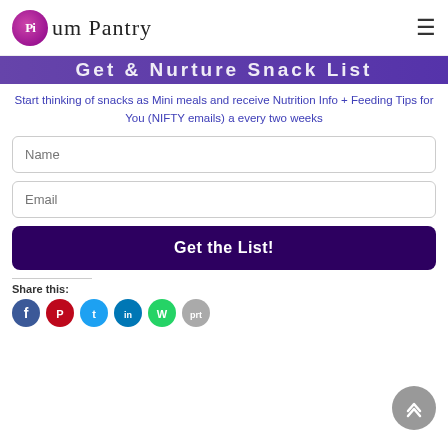The Plum Pantry
Start thinking of snacks as Mini meals and receive Nutrition Info + Feeding Tips for You (NIFTY emails) a every two weeks
Name
Email
Get the List!
Share this: